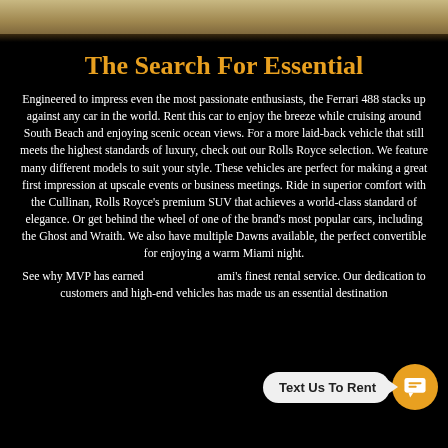[Figure (photo): Top decorative wood-grain/tan textured banner image]
The Search For Essential
Engineered to impress even the most passionate enthusiasts, the Ferrari 488 stacks up against any car in the world. Rent this car to enjoy the breeze while cruising around South Beach and enjoying scenic ocean views. For a more laid-back vehicle that still meets the highest standards of luxury, check out our Rolls Royce selection. We feature many different models to suit your style. These vehicles are perfect for making a great first impression at upscale events or business meetings. Ride in superior comfort with the Cullinan, Rolls Royce’s premium SUV that achieves a world-class standard of elegance. Or get behind the wheel of one of the brand’s most popular cars, including the Ghost and Wraith. We also have multiple Dawns available, the perfect convertible for enjoying a warm Miami night.

See why MVP has earned a reputation as Miami’s finest rental service. Our dedication to customers and high-end vehicles has made us an essential destination